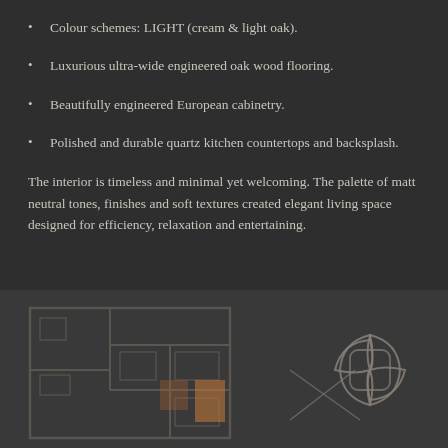Colour schemes: LIGHT (cream & light oak).
Luxurious ultra-wide engineered oak wood flooring.
Beautifully engineered European cabinetry.
Polished and durable quartz kitchen countertops and backsplash.
The interior is timeless and minimal yet welcoming. The palette of matt neutral tones, finishes and soft textures created elegant living space designed for efficiency, relaxation and entertaining.
[Figure (illustration): Dark background with a faint architectural floor plan blueprint on the left and a decorative organic logo/emblem on the right]